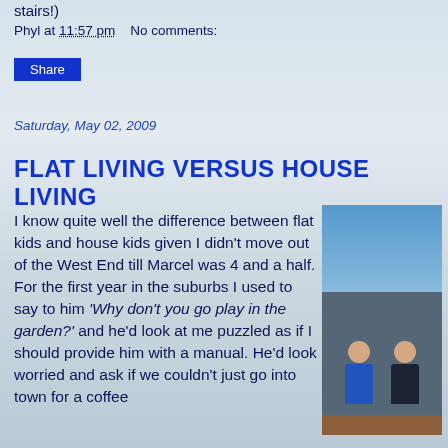stairs!)
Phyl at 11:57 pm    No comments:
Share
Saturday, May 02, 2009
FLAT LIVING VERSUS HOUSE LIVING
I know quite well the difference between flat kids and house kids given I didn't move out of the West End till Marcel was 4 and a half. For the first year in the suburbs I used to say to him 'Why don't you go play in the garden?' and he'd look at me puzzled as if I should provide him with a manual. He'd look worried and ask if we couldn't just go into town for a coffee
[Figure (photo): Two young boys standing on a wooden deck outdoors, one wearing a blue jacket, one wearing a dark jacket, blue sky in background]